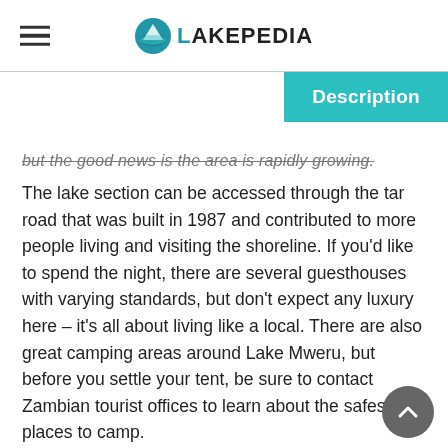LakePedia
Description
but the good news is the area is rapidly growing.
The lake section can be accessed through the tar road that was built in 1987 and contributed to more people living and visiting the shoreline. If you'd like to spend the night, there are several guesthouses with varying standards, but don't expect any luxury here – it's all about living like a local. There are also great camping areas around Lake Mweru, but before you settle your tent, be sure to contact Zambian tourist offices to learn about the safest places to camp.
As for activities, you can always delve in the colorful culture and learn about the history and heritage of